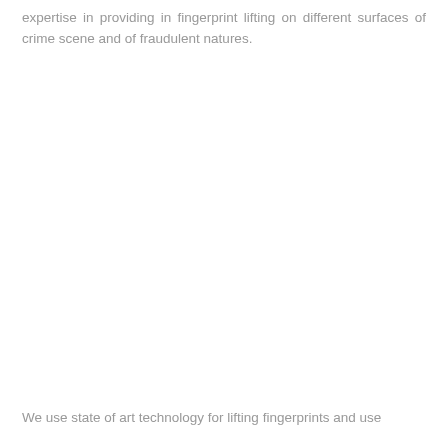expertise in providing in fingerprint lifting on different surfaces of crime scene and of fraudulent natures.
We use state of art technology for lifting fingerprints and use